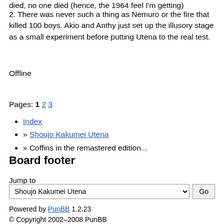died, no one died (hence, the 1964 feel I'm getting)
2. There was never such a thing as Nemuro or the fire that killed 100 boys. Akio and Anthy just set up the illusory stage as a small experiment before putting Utena to the real test.
Offline
Pages: 1 2 3
Index
» Shoujo Kakumei Utena
» Coffins in the remastered edition...
Board footer
Jump to
Shoujo Kakumei Utena  Go
Powered by PunBB 1.2.23
© Copyright 2002–2008 PunBB